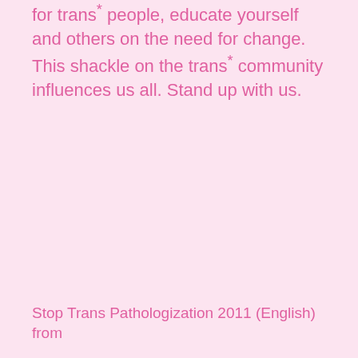for trans* people, educate yourself and others on the need for change. This shackle on the trans* community influences us all. Stand up with us.
Stop Trans Pathologization 2011 (English) from